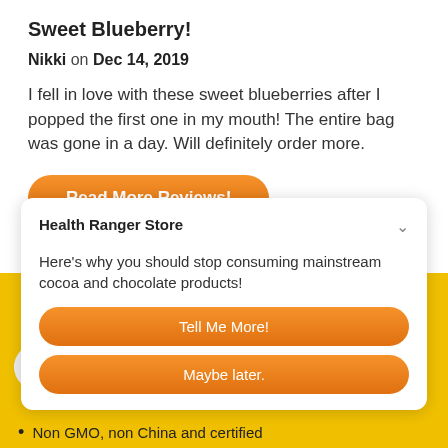Sweet Blueberry!
Nikki on Dec 14, 2019
I fell in love with these sweet blueberries after I popped the first one in my mouth! The entire bag was gone in a day. Will definitely order more.
Read More Reviews!
Health Ranger Store
Here's why you should stop consuming mainstream cocoa and chocolate products!
Tell Me More!
Maybe later.
• Non GMO, non China and certified